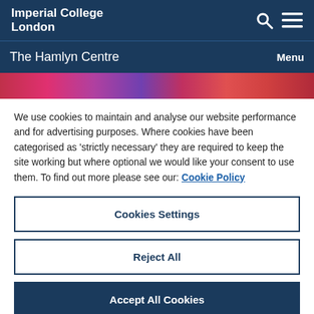Imperial College London
The Hamlyn Centre  Menu
[Figure (photo): Decorative hero image strip with colorful abstract floral/biological imagery in reds, pinks, purples]
We use cookies to maintain and analyse our website performance and for advertising purposes. Where cookies have been categorised as 'strictly necessary' they are required to keep the site working but where optional we would like your consent to use them. To find out more please see our: Cookie Policy
Cookies Settings
Reject All
Accept All Cookies